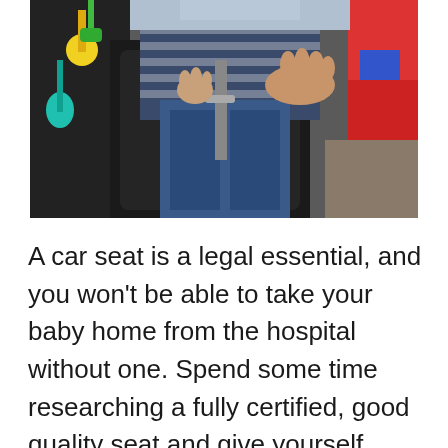[Figure (photo): Photo of a young child in a car seat being buckled in, with colorful toys hanging on the left side and a red toy visible on the right.]
A car seat is a legal essential, and you won't be able to take your baby home from the hospital without one. Spend some time researching a fully certified, good quality seat and give yourself plenty of time to install it in your car before your delivery day. Car seats are notoriously tricky to clip in and out of a